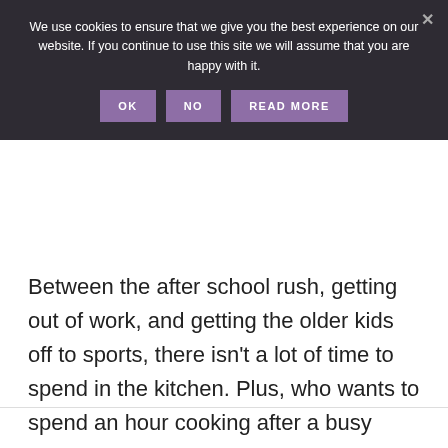[Figure (screenshot): Cookie consent banner with dark background showing text 'We use cookies to ensure that we give you the best experience on our website. If you continue to use this site we will assume that you are happy with it.' and three buttons: OK, NO, READ MORE, with an X close button.]
Between the after school rush, getting out of work, and getting the older kids off to sports, there isn't a lot of time to spend in the kitchen. Plus, who wants to spend an hour cooking after a busy weeknight when they can come home to a home cooked meal.